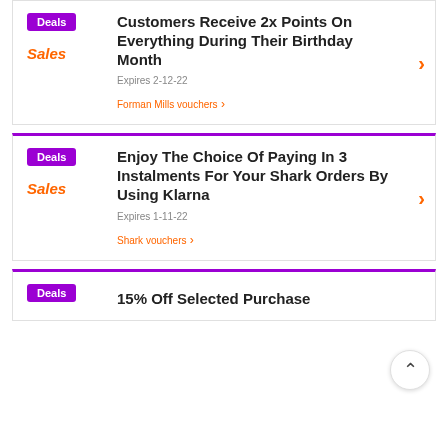Deals | Sales | Customers Receive 2x Points On Everything During Their Birthday Month | Expires 2-12-22 | Forman Mills vouchers
Deals | Sales | Enjoy The Choice Of Paying In 3 Instalments For Your Shark Orders By Using Klarna | Expires 1-11-22 | Shark vouchers
Deals | 15% Off Selected Purchase